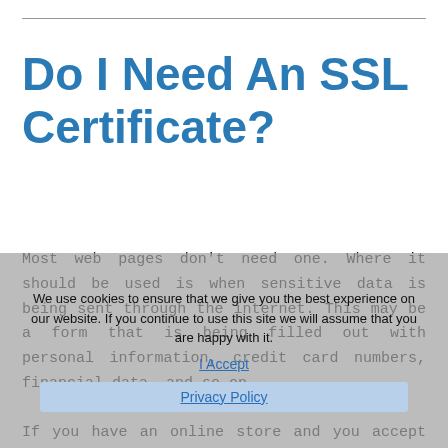Do I Need An SSL Certificate?
Most web pages don't need one. Where it should be used is when sensitive data is being sent through the internet. This may be a form that is being filled out with personal information, credit card numbers, financial data, and so on.

If you have an online store and you accept credit card payments through your own website, it's crucial that you have an SSL certificate in place. Not only does it help protect your customer's data, but it also gives them peace
We use cookies to ensure that we give you the best experience on our website. If you continue to use this site we will assume that you are happy with it.
I Accept
Privacy Policy